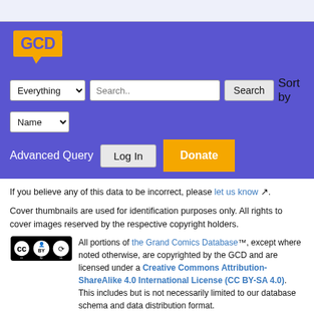[Figure (logo): GCD (Grand Comics Database) logo in orange on purple background]
Everything [dropdown] Search.. [input] Search [button] Sort by Name [dropdown]
Advanced Query  Log In  Donate
If you believe any of this data to be incorrect, please let us know.
Cover thumbnails are used for identification purposes only. All rights to cover images reserved by the respective copyright holders.
All portions of the Grand Comics Database™, except where noted otherwise, are copyrighted by the GCD and are licensed under a Creative Commons Attribution-ShareAlike 4.0 International License (CC BY-SA 4.0). This includes but is not necessarily limited to our database schema and data distribution format.
The GCD Privacy Policy. The GCD Web Site code is licensed under the GNU General Public License.